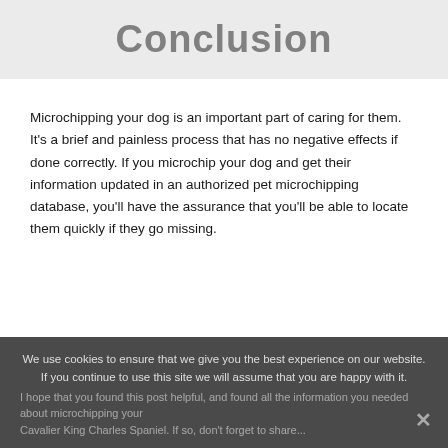Conclusion
Microchipping your dog is an important part of caring for them. It's a brief and painless process that has no negative effects if done correctly. If you microchip your dog and get their information updated in an authorized pet microchipping database, you'll have the assurance that you'll be able to locate them quickly if they go missing.
We use cookies to ensure that we give you the best experience on our website. If you continue to use this site we will assume that you are happy with it.
I hope that you found this post helpful, and found all the information you needed about microchipping your Cavalier King Charles Spaniel. If so, don't forget to share...